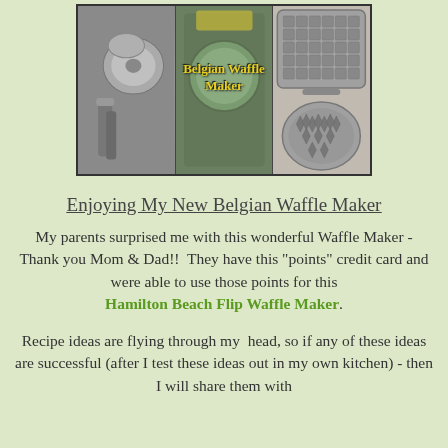[Figure (photo): Three-panel collage photo of a Belgian Waffle Maker - left panel shows metallic waffle iron parts, middle panel shows waffle maker from above with text overlay 'Belgian Waffle Maker', right panel shows the open waffle grid plate]
Enjoying My New Belgian Waffle Maker
My parents surprised me with this wonderful Waffle Maker - Thank you Mom & Dad!!  They have this "points" credit card and were able to use those points for this Hamilton Beach Flip Waffle Maker.
Recipe ideas are flying through my  head, so if any of these ideas are successful (after I test these ideas out in my own kitchen) - then I will share them with